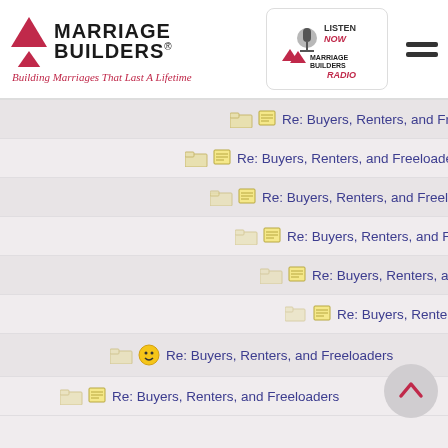[Figure (logo): Marriage Builders logo with red triangles and tagline 'Building Marriages That Last A Lifetime']
[Figure (logo): Listen Now Marriage Builders Radio button/logo in a rounded rectangle]
Re: Buyers, Renters, and Freeloaders
Re: Buyers, Renters, and Freeloaders
Re: Buyers, Renters, and Freeloaders
Re: Buyers, Renters, and Freeloaders
Re: Buyers, Renters, and Freeloaders
Re: Buyers, Renters, and Freeloaders
Re: Buyers, Renters, and Freeloaders
Re: Buyers, Renters, and Freeloaders